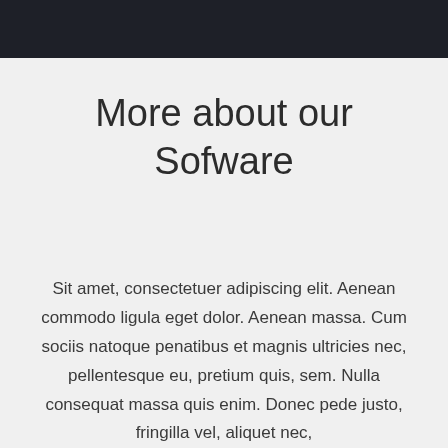More about our Sofware
Sit amet, consectetuer adipiscing elit. Aenean commodo ligula eget dolor. Aenean massa. Cum sociis natoque penatibus et magnis ultricies nec, pellentesque eu, pretium quis, sem. Nulla consequat massa quis enim. Donec pede justo, fringilla vel, aliquet nec,